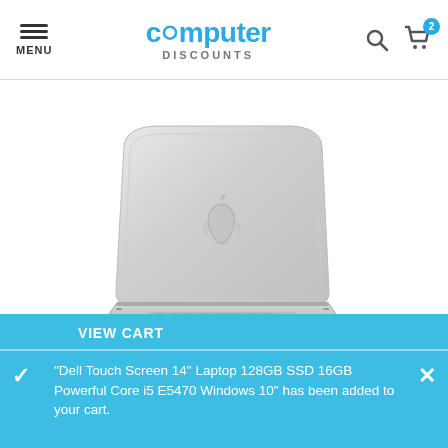MENU | computer DISCOUNTS | Search | Cart (2)
[Figure (photo): Apple MacBook laptop viewed from behind at an angle, silver/aluminum finish, Apple logo visible on the lid, keyboard partially visible at bottom]
VIEW CART
"Dell Touch Screen 14" Laptop 128GB SSD 16GB Powerful Core i5 E5470 Windows 10" has been added to your cart.